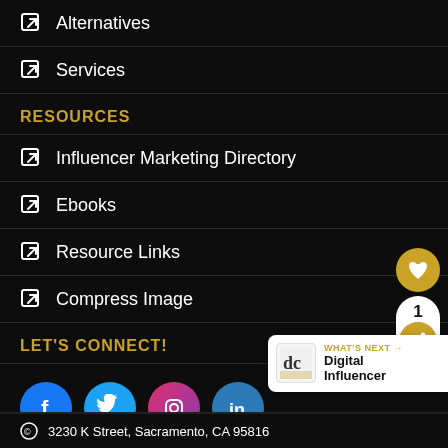Alternatives
Services
RESOURCES
Influencer Marketing Directory
Ebooks
Resource Links
Compress Image
LET'S CONNECT!
[Figure (infographic): Social media icons: Facebook (blue circle), Twitter (blue circle), Instagram (pink gradient circle), LinkedIn (blue circle)]
[Figure (infographic): Like/share widget on right side: gold heart circle on top, white pill with '1' count and gold share icon below]
[Figure (infographic): What's Next banner with Digital Curls logo and text 'Digital Influencer']
3230 K Street, Sacramento, CA 95816